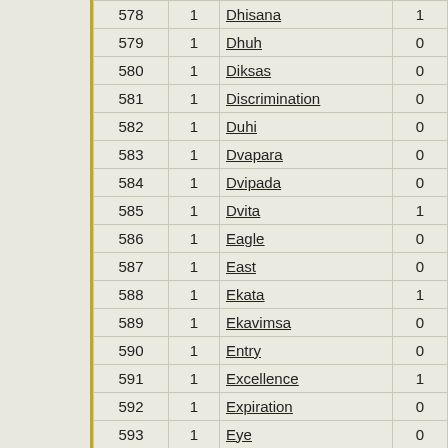|  |  |  |  |  |
| --- | --- | --- | --- | --- |
| 578 | 1 | Dhisana | 1 | 0 |
| 579 | 1 | Dhuh | 0 | 0 |
| 580 | 1 | Diksas | 0 | 0 |
| 581 | 1 | Discrimination | 0 | 0 |
| 582 | 1 | Duhi | 0 | 0 |
| 583 | 1 | Dvapara | 0 | 0 |
| 584 | 1 | Dvipada | 0 | 0 |
| 585 | 1 | Dvita | 1 | 0 |
| 586 | 1 | Eagle | 0 | 0 |
| 587 | 1 | East | 0 | 1 |
| 588 | 1 | Ekata | 1 | 0 |
| 589 | 1 | Ekavimsa | 0 | 0 |
| 590 | 1 | Entry | 0 | 0 |
| 591 | 1 | Excellence | 1 | 0 |
| 592 | 1 | Expiration | 0 | 0 |
| 593 | 1 | Eye | 0 | 0 |
| 594 | 1 | Fat | 0 | 0 |
| 595 | 1 | Flies | 0 | 0 |
| 596 | 1 | Form | 0 | 0 |